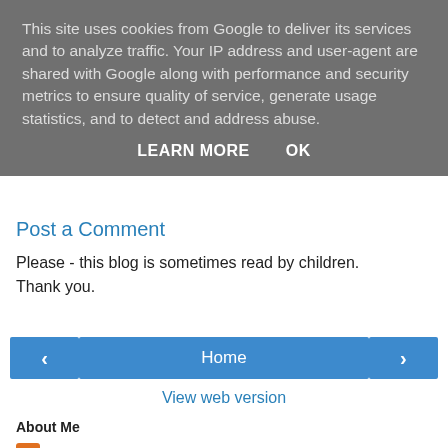This site uses cookies from Google to deliver its services and to analyze traffic. Your IP address and user-agent are shared with Google along with performance and security metrics to ensure quality of service, generate usage statistics, and to detect and address abuse.
LEARN MORE   OK
Post a Comment
Please - this blog is sometimes read by children. Thank you.
‹   Home   ›
View web version
About Me
On-line At Etc
We welcome your thoughts and questions.
View my complete profile